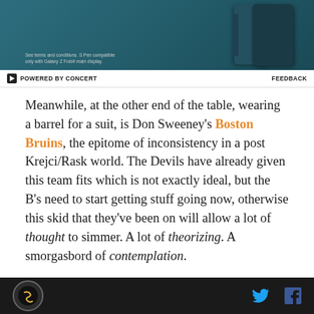[Figure (photo): Advertisement banner for Samsung Galaxy Z Fold4 with teal/dark blue color scheme showing folded phone devices on the right side]
⚡ POWERED BY CONCERT   FEEDBACK
Meanwhile, at the other end of the table, wearing a barrel for a suit, is Don Sweeney's Boston Bruins, the epitome of inconsistency in a post Krejci/Rask world. The Devils have already given this team fits which is not exactly ideal, but the B's need to start getting stuff going now, otherwise this skid that they've been on will allow a lot of thought to simmer. A lot of theorizing. A smorgasbord of contemplation.
And right now the B's need to have anything but that to happen if they want to look like they do right now and
[SB Nation logo] [Twitter icon] [Facebook icon]